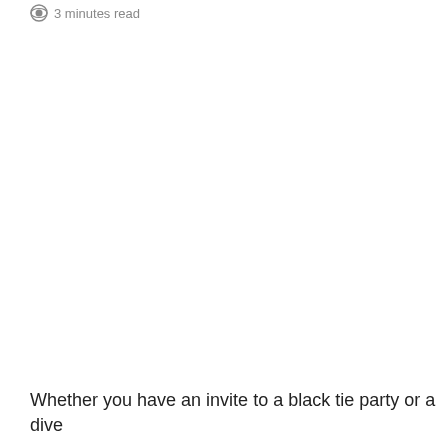3 minutes read
Whether you have an invite to a black tie party or a dive